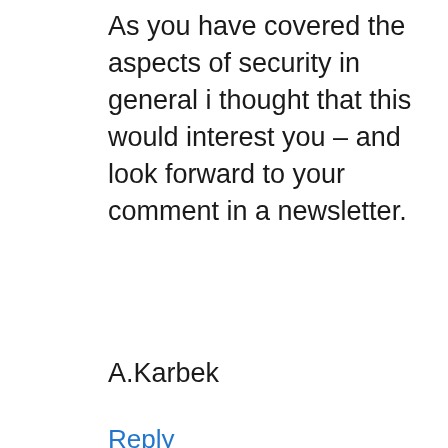As you have covered the aspects of security in general i thought that this would interest you – and look forward to your comment in a newsletter.
A.Karbek
Reply
Leave a reply: